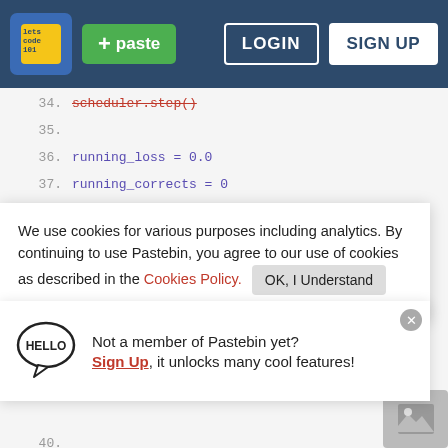Pastebin header with logo, paste button, login, sign up
scheduler.step()
running_loss = 0.0
running_corrects = 0
# Iterate over data
We use cookies for various purposes including analytics. By continuing to use Pastebin, you agree to our use of cookies as described in the Cookies Policy. OK, I Understand
# zero the parameter gradients
Not a member of Pastebin yet? Sign Up, it unlocks many cool features!
_, pred = torch.max(output, 1)
loss = criterion(output, train_label)
loss.backward()
optimizer.step()